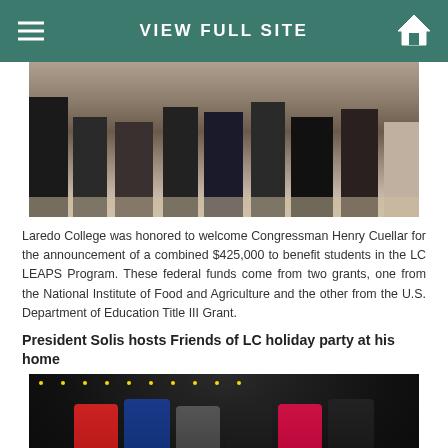VIEW FULL SITE
[Figure (photo): Group photo of people standing together at an event, showing legs and lower bodies holding a banner]
Laredo College was honored to welcome Congressman Henry Cuellar for the announcement of a combined $425,000 to benefit students in the LC LEAPS Program. These federal funds come from two grants, one from the National Institute of Food and Agriculture and the other from the U.S. Department of Education Title III Grant.
President Solis hosts Friends of LC holiday party at his home
[Figure (photo): Group photo of six adults at an outdoor evening holiday party with string lights in the background]